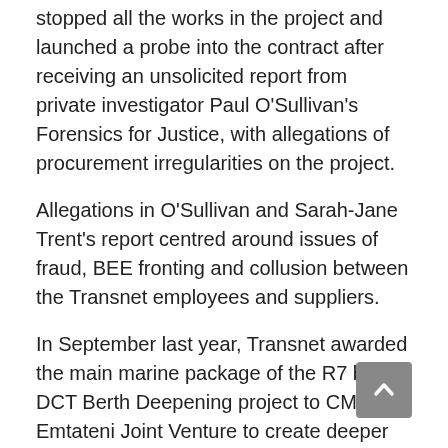stopped all the works in the project and launched a probe into the contract after receiving an unsolicited report from private investigator Paul O'Sullivan's Forensics for Justice, with allegations of procurement irregularities on the project.
Allegations in O'Sullivan and Sarah-Jane Trent's report centred around issues of fraud, BEE fronting and collusion between the Transnet employees and suppliers.
In September last year, Transnet awarded the main marine package of the R7 billion DCT Berth Deepening project to CMI Emtateni Joint Venture to create deeper berths at the DCT's North Quay.
CMI Emtateni Joint Venture comprises of alleli...